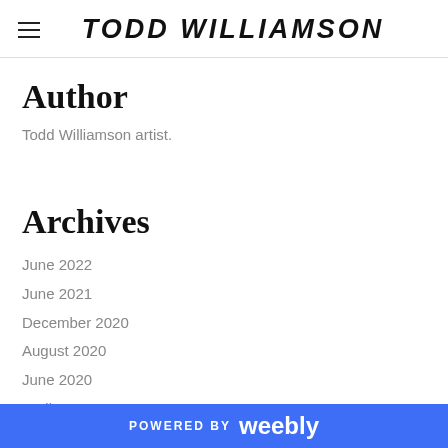TODD WILLIAMSON
Author
Todd Williamson artist.
Archives
June 2022
June 2021
December 2020
August 2020
June 2020
April 2020
November 2019
POWERED BY weebly